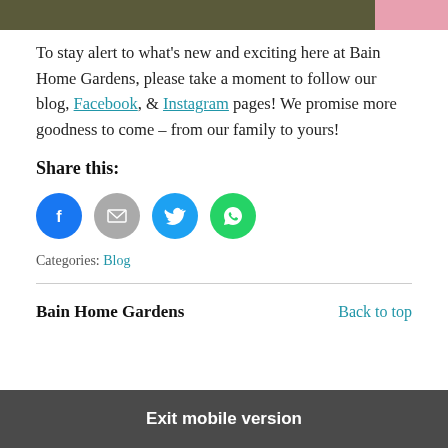[Figure (photo): Two cropped images side by side at top of page — left is a dark/green garden image, right is a pink/light image]
To stay alert to what's new and exciting here at Bain Home Gardens, please take a moment to follow our blog, Facebook, & Instagram pages! We promise more goodness to come – from our family to yours!
Share this:
[Figure (infographic): Four circular social share buttons: Facebook (blue), Email (gray), Twitter (cyan), WhatsApp (green)]
Categories: Blog
Bain Home Gardens
Back to top
Exit mobile version